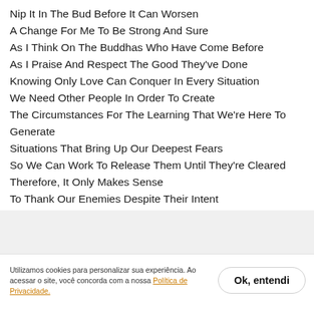Nip It In The Bud Before It Can Worsen
A Change For Me To Be Strong And Sure
As I Think On The Buddhas Who Have Come Before
As I Praise And Respect The Good They've Done
Knowing Only Love Can Conquer In Every Situation
We Need Other People In Order To Create
The Circumstances For The Learning That We're Here To Generate
Situations That Bring Up Our Deepest Fears
So We Can Work To Release Them Until They're Cleared
Therefore, It Only Makes Sense
To Thank Our Enemies Despite Their Intent
Utilizamos cookies para personalizar sua experiência. Ao acessar o site, você concorda com a nossa Política de Privacidade.
Ok, entendi
The Bodhisattva Path Is One Of Power And Strength